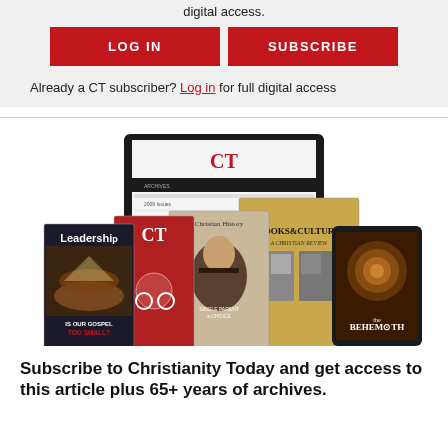digital access.
LOG IN
SUBSCRIBE
Already a CT subscriber? Log in for full digital access
[Figure (illustration): A laptop showing the CT website archives page, surrounded by several magazine covers: Leadership ('Is Our Gospel Too Small?'), CT magazine, Christian History, Books & Culture (A Christian Review), and The Behemoth, displayed as a collage of publications.]
Subscribe to Christianity Today and get access to this article plus 65+ years of archives.